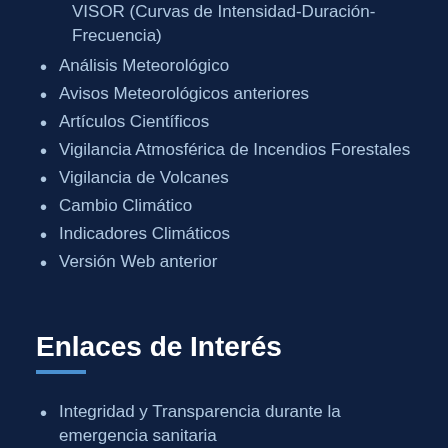VISOR (Curvas de Intensidad-Duración-Frecuencia)
Análisis Meteorológico
Avisos Meteorológicos anteriores
Artículos Científicos
Vigilancia Atmosférica de Incendios Forestales
Vigilancia de Volcanes
Cambio Climático
Indicadores Climáticos
Versión Web anterior
Enlaces de Interés
Integridad y Transparencia durante la emergencia sanitaria